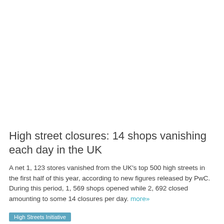High street closures: 14 shops vanishing each day in the UK
A net 1, 123 stores vanished from the UK's top 500 high streets in the first half of this year, according to new figures released by PwC. During this period, 1, 569 shops opened while 2, 692 closed amounting to some 14 closures per day. more»
High Streets Initiative